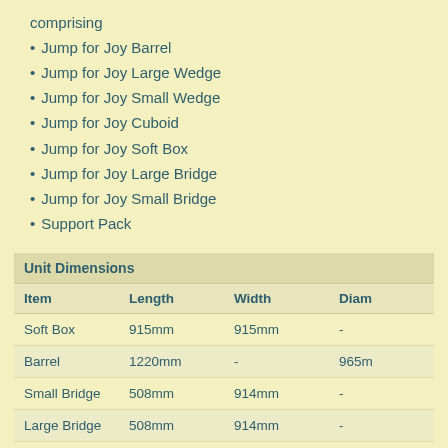comprising
Jump for Joy Barrel
Jump for Joy Large Wedge
Jump for Joy Small Wedge
Jump for Joy Cuboid
Jump for Joy Soft Box
Jump for Joy Large Bridge
Jump for Joy Small Bridge
Support Pack
| Unit Dimensions |  |  |  |
| --- | --- | --- | --- |
| Item | Length | Width | Diam |
| Soft Box | 915mm | 915mm | - |
| Barrel | 1220mm | - | 965m |
| Small Bridge | 508mm | 914mm | - |
| Large Bridge | 508mm | 914mm | - |
| Cuboid | 762mm | 762mm | - |
| Small Wedge | 914mm | 457mm | - |